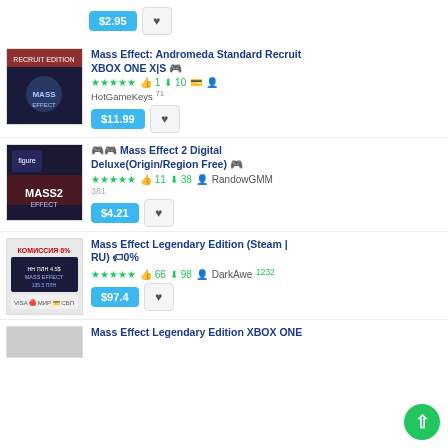[Figure (screenshot): Top partial listing showing price $2.95 and heart button]
Mass Effect: Andromeda Standard Recruit XBOX ONE X|S
★★★★★ 👍1 ⬇10 HotGameKeys 71
$11.99
🎮🎮 Mass Effect 2 Digital Deluxe(Origin/Region Free)
★★★★★ 👍11 ⬇38 RandowGMM 381
$4.21
Mass Effect Legendary Edition (Steam | RU) 🏷0%
★★★★★ 👍66 ⬇98 DarkAwe 1232
$97.4
Mass Effect Legendary Edition XBOX ONE